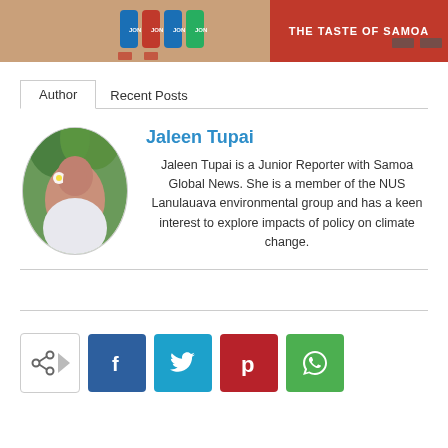[Figure (photo): Top banner image showing hands with colorful bottles on the left side and a red promotional banner on the right side]
Author	Recent Posts
[Figure (photo): Oval portrait photo of Jaleen Tupai, a young woman with a flower in her hair, wearing a white shirt, smiling]
Jaleen Tupai
Jaleen Tupai is a Junior Reporter with Samoa Global News. She is a member of the NUS Lanulauava environmental group and has a keen interest to explore impacts of policy on climate change.
[Figure (infographic): Social share buttons: share icon button, Facebook (f), Twitter (bird), Pinterest (p), WhatsApp (phone icon)]